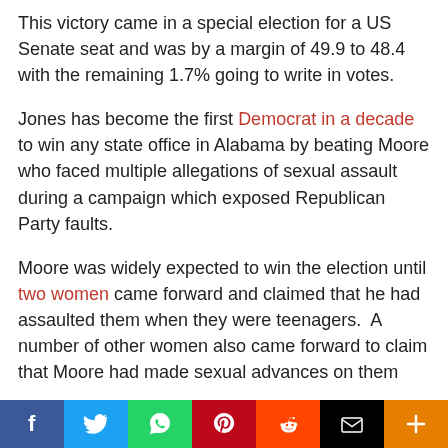This victory came in a special election for a US Senate seat and was by a margin of 49.9 to 48.4 with the remaining 1.7% going to write in votes.
Jones has become the first Democrat in a decade to win any state office in Alabama by beating Moore who faced multiple allegations of sexual assault during a campaign which exposed Republican Party faults.
Moore was widely expected to win the election until two women came forward and claimed that he had assaulted them when they were teenagers. A number of other women also came forward to claim that Moore had made sexual advances on them
[Figure (infographic): Social media share bar with buttons for Facebook, Twitter, WhatsApp, Pinterest, Reddit, Email, and More]